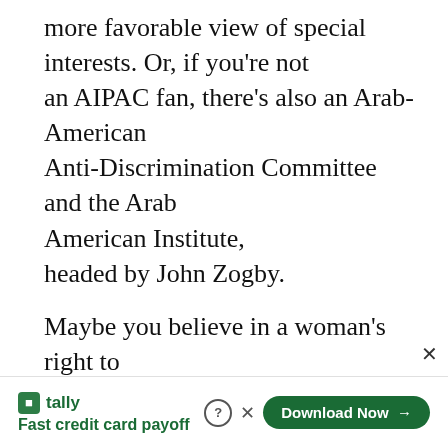more favorable view of special interests. Or, if you're not an AIPAC fan, there's also an Arab-American Anti-Discrimination Committee and the Arab American Institute, headed by John Zogby.
Maybe you believe in a woman's right to choose. Then you would probably be heartened to know of the existence of the National Organization for Women, NARAL and Emily's List.
There's the Sierra Club, which fights to
[Figure (other): Tally advertisement banner: tally logo with text 'Fast credit card payoff' and a 'Download Now' button]